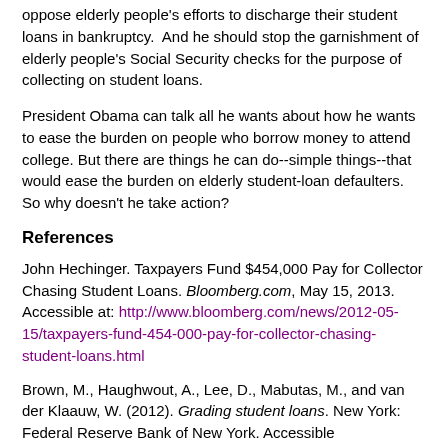oppose elderly people's efforts to discharge their student loans in bankruptcy.  And he should stop the garnishment of elderly people's Social Security checks for the purpose of collecting on student loans.
President Obama can talk all he wants about how he wants to ease the burden on people who borrow money to attend college. But there are things he can do--simple things--that would ease the burden on elderly student-loan defaulters. So why doesn't he take action?
References
John Hechinger. Taxpayers Fund $454,000 Pay for Collector Chasing Student Loans. Bloomberg.com, May 15, 2013. Accessible at: http://www.bloomberg.com/news/2012-05-15/taxpayers-fund-454-000-pay-for-collector-chasing-student-loans.html
Brown, M., Haughwout, A., Lee, D., Mabutas, M., and van der Klaauw, W. (2012). Grading student loans. New York: Federal Reserve Bank of New York. Accessible